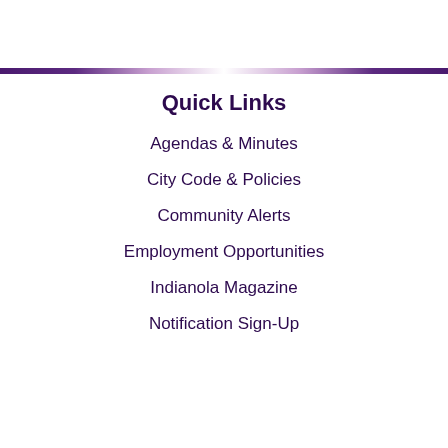Quick Links
Agendas & Minutes
City Code & Policies
Community Alerts
Employment Opportunities
Indianola Magazine
Notification Sign-Up